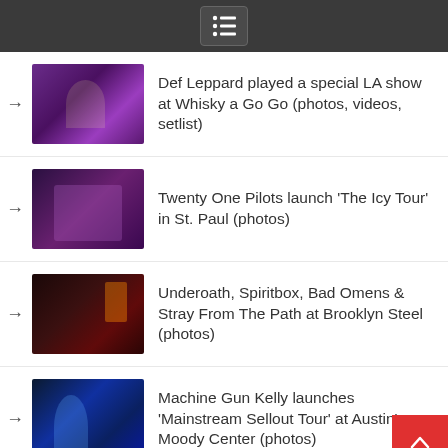Navigation menu header bar
Def Leppard played a special LA show at Whisky a Go Go (photos, videos, setlist)
Twenty One Pilots launch 'The Icy Tour' in St. Paul (photos)
Underoath, Spiritbox, Bad Omens & Stray From The Path at Brooklyn Steel (photos)
Machine Gun Kelly launches 'Mainstream Sellout Tour' at Austin's Moody Center (photos)